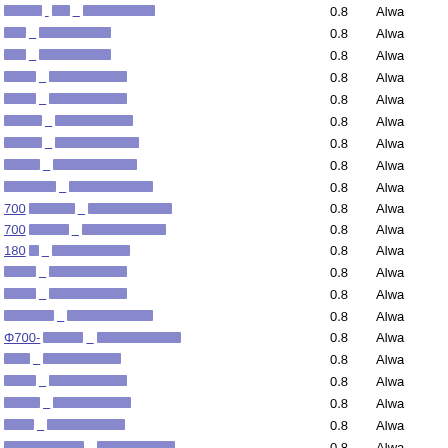| Link | Value | Status |
| --- | --- | --- |
| [redacted] [redacted] | 0.8 | Alwa |
| [redacted] [redacted] | 0.8 | Alwa |
| [redacted] [redacted] | 0.8 | Alwa |
| [redacted] [redacted] | 0.8 | Alwa |
| [redacted] [redacted] | 0.8 | Alwa |
| [redacted] [redacted] | 0.8 | Alwa |
| [redacted] [redacted] | 0.8 | Alwa |
| [redacted] [redacted] | 0.8 | Alwa |
| [redacted] [redacted] | 0.8 | Alwa |
| 700[redacted] [redacted] | 0.8 | Alwa |
| 700[redacted] [redacted] | 0.8 | Alwa |
| 180[redacted] [redacted] | 0.8 | Alwa |
| [redacted] [redacted] | 0.8 | Alwa |
| [redacted] [redacted] | 0.8 | Alwa |
| [redacted] [redacted] | 0.8 | Alwa |
| Φ700-[redacted] [redacted] | 0.8 | Alwa |
| [redacted] [redacted] | 0.8 | Alwa |
| [redacted] [redacted] | 0.8 | Alwa |
| [redacted] [redacted] | 0.8 | Alwa |
| [redacted] [redacted] | 0.8 | Alwa |
| [redacted] [redacted] | 0.8 | Alwa |
| [redacted] [redacted] | 0.8 | Alwa |
| [redacted] [redacted] | 0.8 | Alwa |